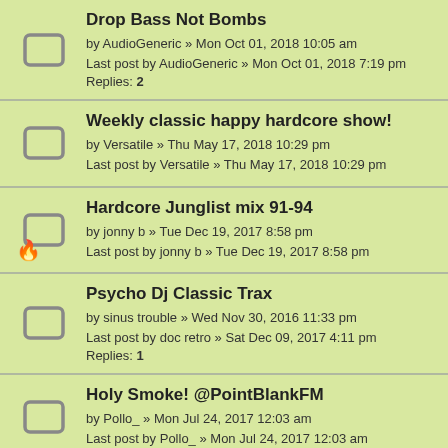Drop Bass Not Bombs
by AudioGeneric » Mon Oct 01, 2018 10:05 am
Last post by AudioGeneric » Mon Oct 01, 2018 7:19 pm
Replies: 2
Weekly classic happy hardcore show!
by Versatile » Thu May 17, 2018 10:29 pm
Last post by Versatile » Thu May 17, 2018 10:29 pm
Hardcore Junglist mix 91-94
by jonny b » Tue Dec 19, 2017 8:58 pm
Last post by jonny b » Tue Dec 19, 2017 8:58 pm
Psycho Dj Classic Trax
by sinus trouble » Wed Nov 30, 2016 11:33 pm
Last post by doc retro » Sat Dec 09, 2017 4:11 pm
Replies: 1
Holy Smoke! @PointBlankFM
by Pollo_ » Mon Jul 24, 2017 12:03 am
Last post by Pollo_ » Mon Jul 24, 2017 12:03 am
Frankie Magic: Original Pirate Material Vol. 4 (90s - 00s UK Garage)